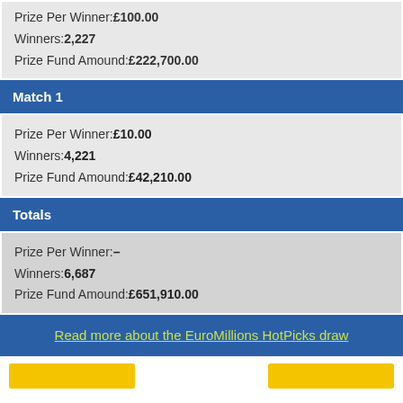Prize Per Winner: £100.00 | Winners: 2,227 | Prize Fund Amount: £222,700.00
Match 1
Prize Per Winner: £10.00 | Winners: 4,221 | Prize Fund Amount: £42,210.00
Totals
Prize Per Winner: – | Winners: 6,687 | Prize Fund Amount: £651,910.00
Read more about the EuroMillions HotPicks draw